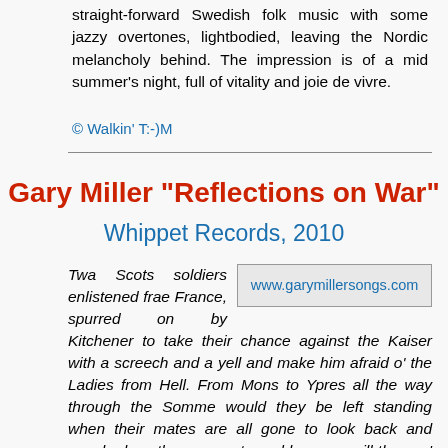straight-forward Swedish folk music with some jazzy overtones, lightbodied, leaving the Nordic melancholy behind. The impression is of a mid summer's night, full of vitality and joie de vivre.
© Walkin' T:-)M
Gary Miller "Reflections on War"
Whippet Records, 2010
Twa Scots soldiers enlistened frae France, spurred on by Kitchener to take their chance against the Kaiser with a screech and a yell and make him afraid o' the Ladies from Hell. From Mons to Ypres all the way through the Somme would they be left standing when their mates are all gone to look back and wonder how they ever returned hame or will they no' come back again?
www.garymillersongs.com
Gary Miller had been the mastermind of the folk punk band Whisky Priests, founded in 1985 in Durham in northeast England. The Priests sang in their native dialect, the lyrics and stories firmly rooted in people and places. Unfortunatly the band was constantly struggling with line-up changes and the music biz in general. When the group disbanded in 2002, Gary stepped out of the spot light, apart from a recording with Blyth Power's Joseph Porter.[18]